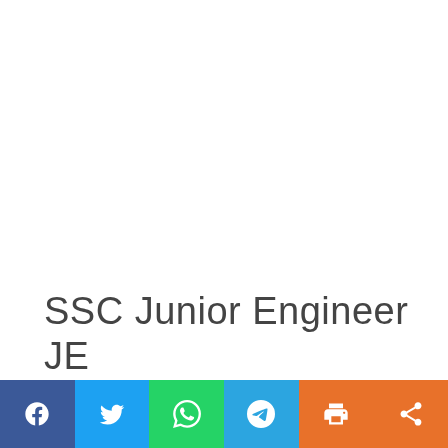SSC Junior Engineer JE
[Figure (infographic): Social sharing toolbar with six buttons: Facebook (blue), Twitter (light blue), WhatsApp (green), Telegram (blue), Print (orange), Share (orange), each with white icons]